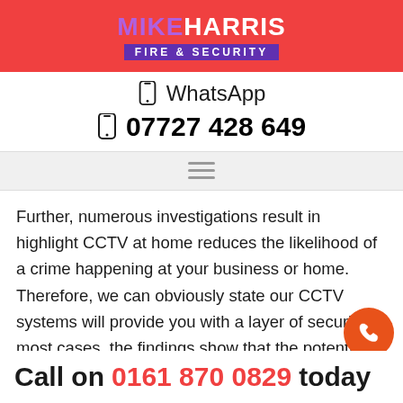[Figure (logo): Mike Harris Fire & Security logo on red background]
WhatsApp
07727 428 649
[Figure (other): Hamburger menu icon]
Further, numerous investigations result in highlight CCTV at home reduces the likelihood of a crime happening at your business or home. Therefore, we can obviously state our CCTV systems will provide you with a layer of security. In most cases, the findings show that the potential thief will go on to another home that does not have CCTV.
Call on 0161 870 0829 today